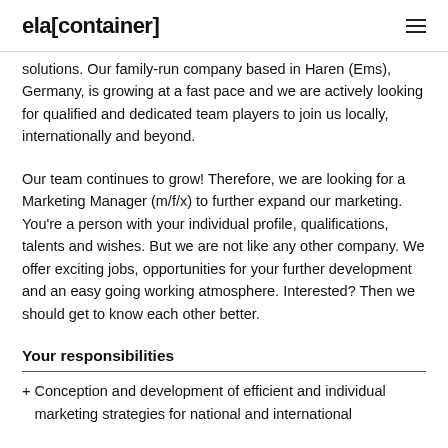ela[container]
solutions. Our family-run company based in Haren (Ems), Germany, is growing at a fast pace and we are actively looking for qualified and dedicated team players to join us locally, internationally and beyond.
Our team continues to grow! Therefore, we are looking for a Marketing Manager (m/f/x) to further expand our marketing. You’re a person with your individual profile, qualifications, talents and wishes. But we are not like any other company. We offer exciting jobs, opportunities for your further development and an easy going working atmosphere. Interested? Then we should get to know each other better.
Your responsibilities
Conception and development of efficient and individual marketing strategies for national and international